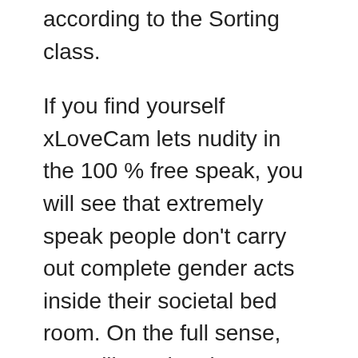according to the Sorting class.
If you find yourself xLoveCam lets nudity in the 100 % free speak, you will see that extremely speak people don't carry out complete gender acts inside their societal bed room. On the full sense, you will need go into private reveals having this new activities you are searching for. Your website plus is sold with Topless Mondays, a grand event adding even more jumping bosoms with no cash. You can look at it since the an effective examine prior to taking them for the privates. xLoveCam is simple so you're able to browse, you will find that you could easily find the category of your choice. The website is even mostly of the that provide cam2cam toward pc and